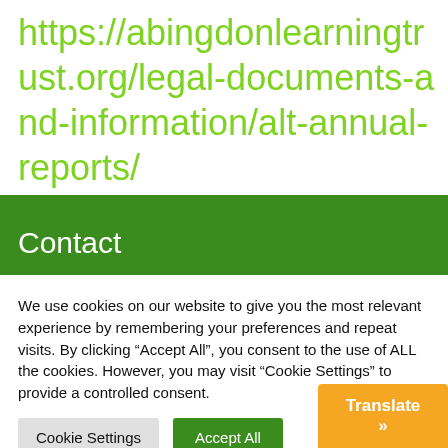https://abingdonlearningtrust.org/legal-documents-and-information/alt-annual-reports/
Contact
We use cookies on our website to give you the most relevant experience by remembering your preferences and repeat visits. By clicking “Accept All”, you consent to the use of ALL the cookies. However, you may visit "Cookie Settings" to provide a controlled consent.
Cookie Settings   Accept All
Translate »